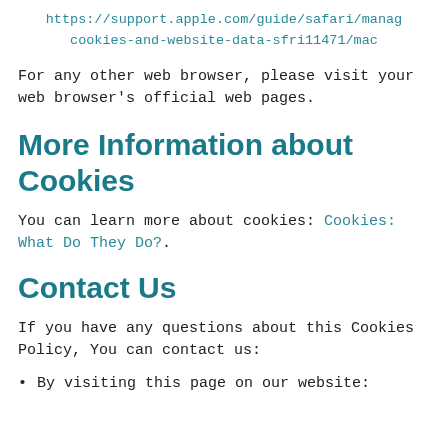https://support.apple.com/guide/safari/manage-cookies-and-website-data-sfri11471/mac
For any other web browser, please visit your web browser's official web pages.
More Information about Cookies
You can learn more about cookies: Cookies: What Do They Do?.
Contact Us
If you have any questions about this Cookies Policy, You can contact us:
By visiting this page on our website: